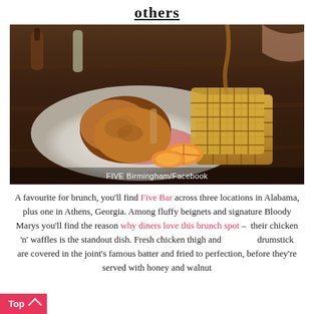others
[Figure (photo): A plate of fried chicken and waffles with orange slices on a white plate, on a wooden table. Caption: FIVE Birmingham/Facebook]
FIVE Birmingham/Facebook
A favourite for brunch, you'll find Five Bar across three locations in Alabama, plus one in Athens, Georgia. Among fluffy beignets and signature Bloody Marys you'll find the reason why diners love this brunch spot – their chicken 'n' waffles is the standout dish. Fresh chicken thigh and drumstick are covered in the joint's famous batter and fried to perfection, before they're served with honey and walnut